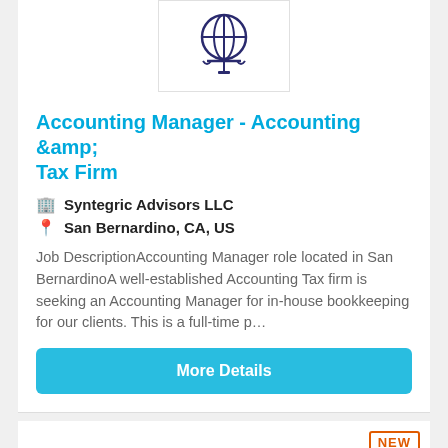[Figure (logo): Company logo with dark blue/purple globe and scales icon]
Accounting Manager - Accounting &amp; Tax Firm
🏢 Syntegric Advisors LLC
📍 San Bernardino, CA, US
Job DescriptionAccounting Manager role located in San BernardinoA well-established Accounting Tax firm is seeking an Accounting Manager for in-house bookkeeping for our clients. This is a full-time p...
More Details
[Figure (logo): Company logo with blue and gray Y letter mark]